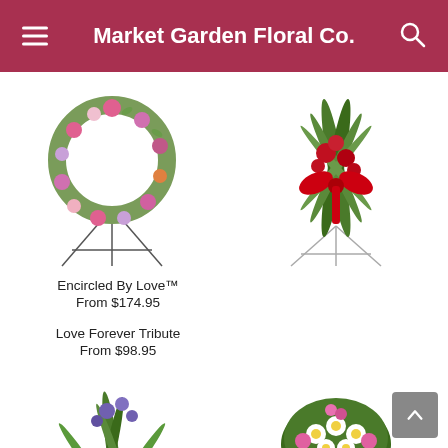Market Garden Floral Co.
[Figure (photo): Floral wreath arrangement with pink, purple, and white flowers on a metal easel stand — Encircled By Love]
Encircled By Love™
From $174.95
[Figure (photo): Red rose and greenery standing spray with large red ribbon bow on a metal easel stand — Love Forever Tribute]
Love Forever Tribute
From $98.95
[Figure (photo): Tall standing arrangement with purple flowers and ferns on an easel — partial view, bottom of page]
[Figure (photo): Rounded arrangement with white daisies and pink flowers — partial view, bottom of page]